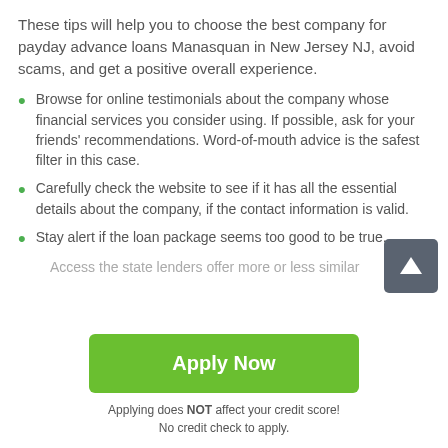These tips will help you to choose the best company for payday advance loans Manasquan in New Jersey NJ, avoid scams, and get a positive overall experience.
Browse for online testimonials about the company whose financial services you consider using. If possible, ask for your friends' recommendations. Word-of-mouth advice is the safest filter in this case.
Carefully check the website to see if it has all the essential details about the company, if the contact information is valid.
Stay alert if the loan package seems too good to be true. Access the state lenders offer more or less similar...
Apply Now
Applying does NOT affect your credit score!
No credit check to apply.